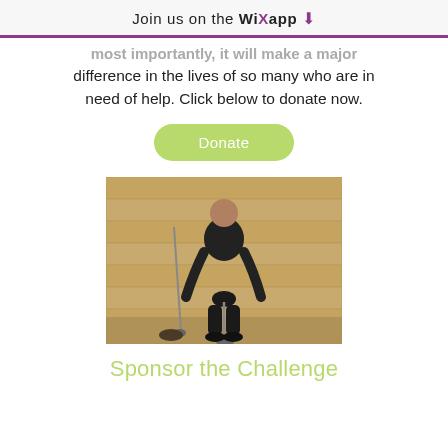Join us on the WiX app ⬇
most importantly, it will make a major difference in the lives of so many who are in need of help. Click below to donate now.
Donate
[Figure (photo): Man in black polo shirt holding a golf club in a putting stance inside a wooden-panelled room]
Sponsor the Challenge